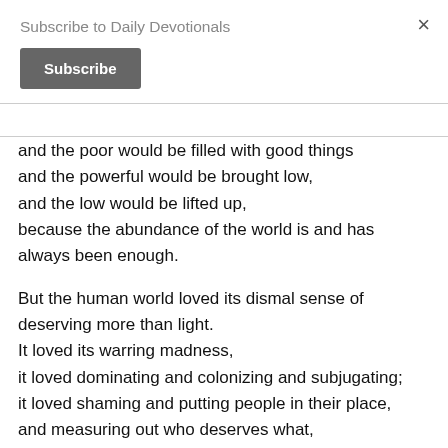Subscribe to Daily Devotionals
Subscribe
×
and the poor would be filled with good things
and the powerful would be brought low,
and the low would be lifted up,
because the abundance of the world is and has always been enough.
But the human world loved its dismal sense of deserving more than light.
It loved its warring madness,
it loved dominating and colonizing and subjugating;
it loved shaming and putting people in their place,
and measuring out who deserves what,